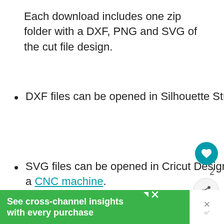Each download includes one zip folder with a DXF, PNG and SVG of the cut file design.
DXF files can be opened in Silhouette Studio and cut with a Silhouette Cameo.
SVG files can be opened in Cricut Design Space and cut with a Cricut machine or a CNC machine.
[Figure (other): Social sharing UI overlay: heart/like button with count 2 and share button]
[Figure (other): What's Next widget showing Pumpkin Patch Cut Fi... with thumbnail logo]
[Figure (other): Green advertisement banner: See cross-channel insights with every purchase]